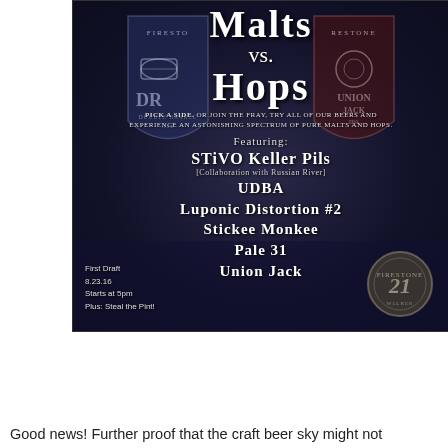[Figure (infographic): Firestone Walker brewery event poster for 'Malts vs. Hops' featuring two shield logos (Double Barrel Ale and Union Jack IPA), with beer names listed and event details. Dark blue/grey background with white text.]
Good news! Further proof that the craft beer sky might not